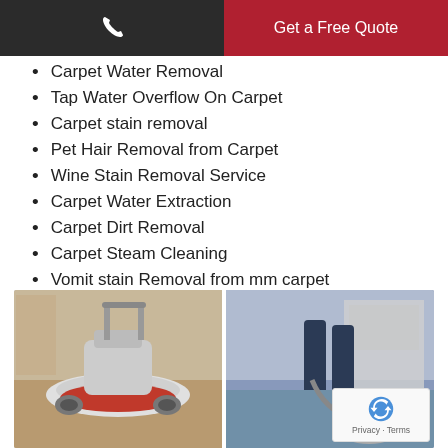Get a Free Quote
Carpet Water Removal
Tap Water Overflow On Carpet
Carpet stain removal
Pet Hair Removal from Carpet
Wine Stain Removal Service
Carpet Water Extraction
Carpet Dirt Removal
Carpet Steam Cleaning
Vomit stain Removal from mm carpet
[Figure (photo): Two photos side by side showing carpet cleaning equipment: left shows a rotary floor cleaning machine with a red buffer pad, right shows a person operating cleaning equipment on a carpet]